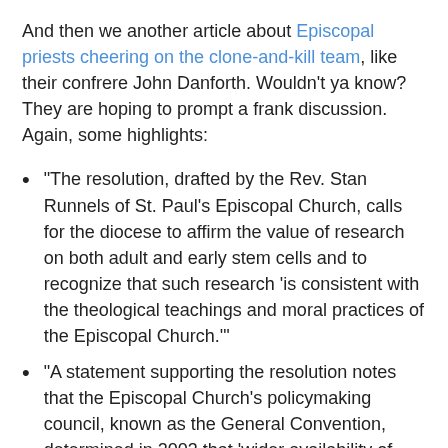And then we another article about Episcopal priests cheering on the clone-and-kill team, like their confrere John Danforth. Wouldn't ya know? They are hoping to prompt a frank discussion. Again, some highlights:
"The resolution, drafted by the Rev. Stan Runnels of St. Paul's Episcopal Church, calls for the diocese to affirm the value of research on both adult and early stem cells and to recognize that such research 'is consistent with the theological teachings and moral practices of the Episcopal Church.'"
"A statement supporting the resolution notes that the Episcopal Church's policymaking council, known as the General Convention, determined in 2003 that 'wider availability of embryonic stem cells for medical research holds the potential for discovery of effective treatment of a wide variety of diseases and other medical conditions.'"